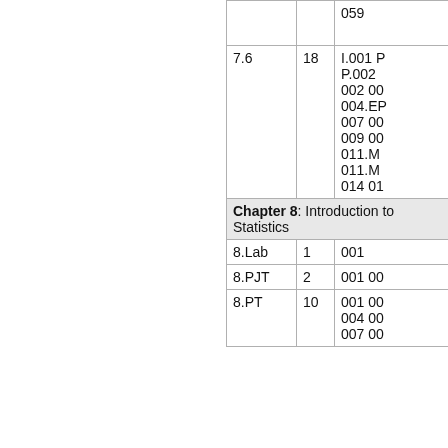|  |  |  |
| --- | --- | --- |
|  |  | 059 |
| 7.6 | 18 | I.001 P
P.002
002 00
004.EP
007 00
009 00
011.M
011.M
014 01 |
| Chapter 8: Introduction to Statistics |  |  |
| 8.Lab | 1 | 001 |
| 8.PJT | 2 | 001 00 |
| 8.PT | 10 | 001 00
004 00
007 00 |